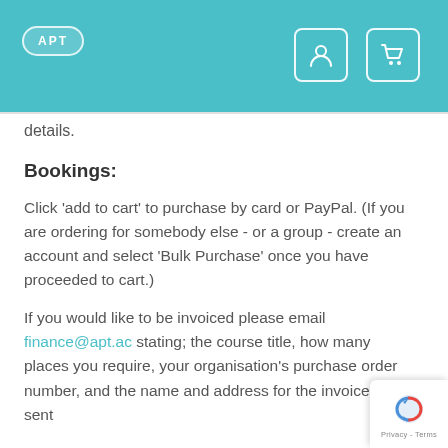APT
details.
Bookings:
Click 'add to cart' to purchase by card or PayPal. (If you are ordering for somebody else - or a group - create an account and select 'Bulk Purchase' once you have proceeded to cart.)
If you would like to be invoiced please email finance@apt.ac stating; the course title, how many places you require, your organisation's purchase order number, and the name and address for the invoice to be sent